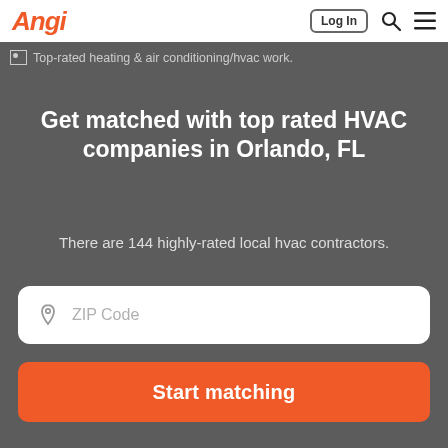Angi | Log In
[Figure (photo): Top-rated heating & air conditioning/hvac work. (broken image placeholder)]
Get matched with top rated HVAC companies in Orlando, FL
There are 144 highly-rated local hvac contractors.
ZIP Code (input field)
Start matching (button)